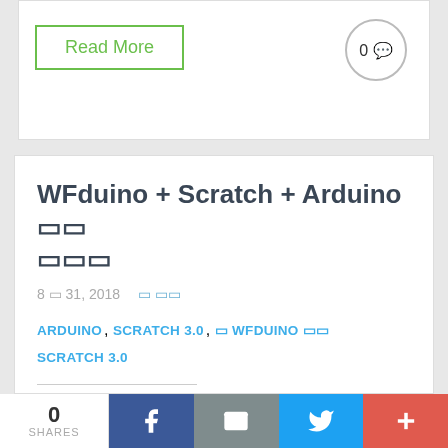Read More
0 💬
WFduino + Scratch + Arduino 연동 프로젝트
8월 31, 2018   글 작성
ARDUINO, SCRATCH 3.0, 및 WFDUINO 관련 SCRATCH 3.0
[Figure (infographic): Social share buttons: Facebook, Email, Twitter, Plus]
0 SHARES
[Figure (infographic): Bottom bar social share buttons: Facebook, Email, Twitter, Plus]